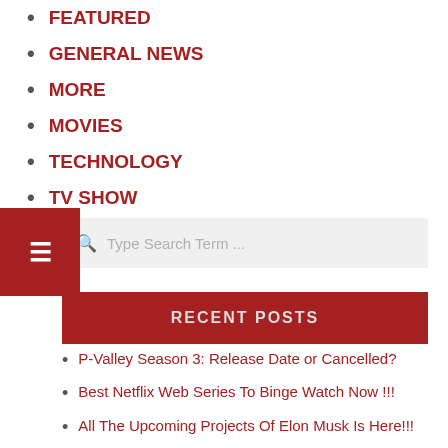FEATURED
GENERAL NEWS
MORE
MOVIES
TECHNOLOGY
TV SHOW
[Figure (other): Red hamburger menu button with three horizontal lines icon on left side]
Type Search Term ...
RECENT POSTS
P-Valley Season 3: Release Date or Cancelled?
Best Netflix Web Series To Binge Watch Now !!!
All The Upcoming Projects Of Elon Musk Is Here!!!
who is Elon Musk ?
Attack of the Titan Season 4 Episode 16: Release Date,